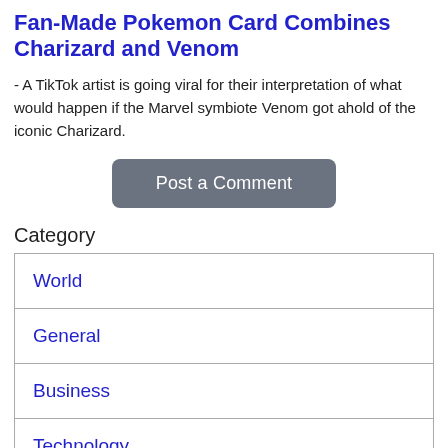Fan-Made Pokemon Card Combines Charizard and Venom
- A TikTok artist is going viral for their interpretation of what would happen if the Marvel symbiote Venom got ahold of the iconic Charizard.
[Figure (other): Post a Comment button]
Category
| World |
| General |
| Business |
| Technology |